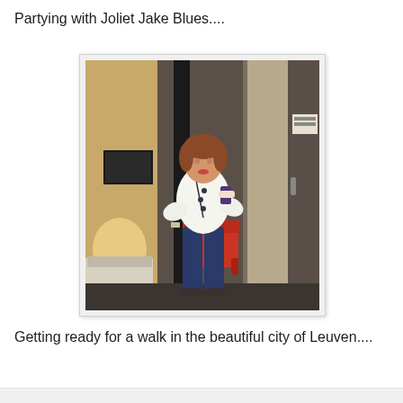Partying with Joliet Jake Blues....
[Figure (photo): A woman in a white top and dark jeans taking a mirror selfie in a hotel room. A red chair and warm-lit lamp are visible in the background reflection.]
Getting ready for a walk in the beautiful city of Leuven....